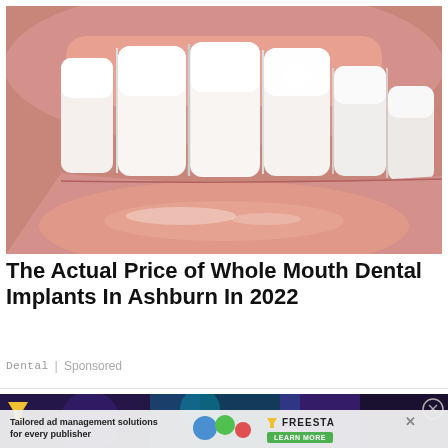[Figure (photo): Close-up macro photo of a mouth showing bright white teeth with pink/glossy lips. The upper teeth are clearly visible with the lower lip beneath them.]
The Actual Price of Whole Mouth Dental Implants In Ashburn In 2022
Dental | Sponsored
[Figure (infographic): Advertisement banner: dark navy background with Freestar logo (triangle/funnel icon), close X button, and sub-banner showing 'Tailored ad management solutions for every publisher' with illustrated characters and 'FREESTA' brand name with a 'LEARN MORE' green button.]